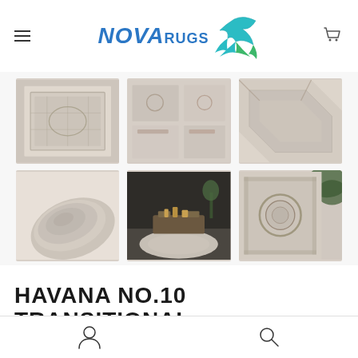[Figure (logo): Nova Rugs logo with blue NOVA text, RUGS text, and a swallow bird graphic in blue and green]
[Figure (photo): Grid of 6 rug product thumbnail photos showing a transitional oriental rug from various angles and in room settings]
HAVANA NO.10 TRANSITIONAL ORIENTAL RUG